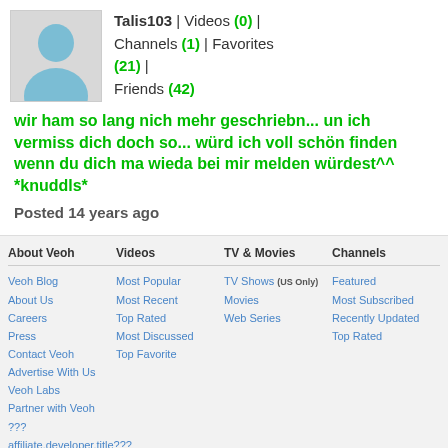[Figure (illustration): User profile avatar silhouette of a person in light blue/teal color on a grey background]
Talis103 | Videos (0) | Channels (1) | Favorites (21) | Friends (42)
wir ham so lang nich mehr geschriebn... un ich vermiss dich doch so... würd ich voll schön finden wenn du dich ma wieda bei mir melden würdest^^ *knuddls*
Posted 14 years ago
About Veoh
Videos
TV & Movies
Channels
Veoh Blog
About Us
Careers
Press
Contact Veoh
Advertise With Us
Veoh Labs
Partner with Veoh
???
affiliate.developer.title???
Most Popular
Most Recent
Top Rated
Most Discussed
Top Favorite
TV Shows (US Only)
Movies
Web Series
Featured
Most Subscribed
Recently Updated
Top Rated
Copyright © 2008 Veoh Networks,